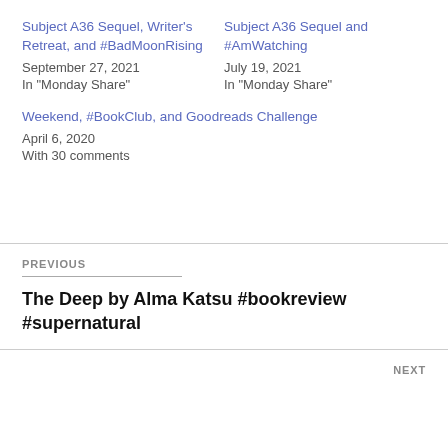Subject A36 Sequel, Writer's Retreat, and #BadMoonRising
September 27, 2021
In "Monday Share"
Subject A36 Sequel and #AmWatching
July 19, 2021
In "Monday Share"
Weekend, #BookClub, and Goodreads Challenge
April 6, 2020
With 30 comments
PREVIOUS
The Deep by Alma Katsu #bookreview #supernatural
NEXT